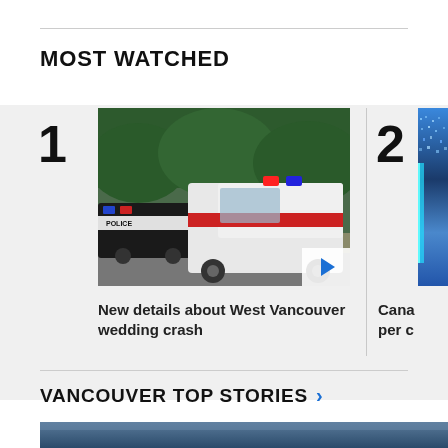MOST WATCHED
[Figure (photo): Photo of a police car and ambulance in a parking lot with trees in background - item 1 in Most Watched list]
New details about West Vancouver wedding crash
[Figure (photo): Aerial city photo - item 2 in Most Watched list (partially visible)]
Cana per c
VANCOUVER TOP STORIES >
[Figure (photo): Partially visible image at bottom of page for Vancouver Top Stories section]